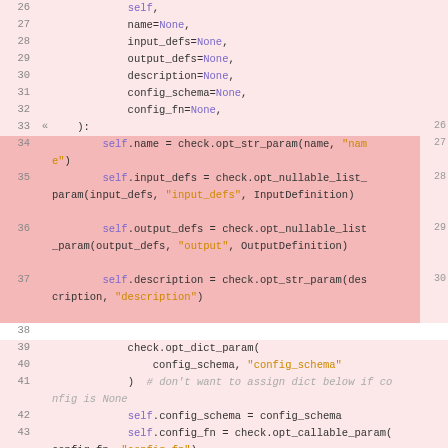[Figure (screenshot): Code diff view showing Python source lines 26-46, with pink/red highlighted lines indicating changes. Left side shows line numbers 26-46. Right side shows corresponding line numbers 26-30. Code includes method parameters (self, name, input_defs, output_defs, description, config_schema, config_fn) and method body with check.opt_str_param, check.opt_nullable_list_param, check.opt_str_param, check.opt_dict_param, self.config_schema, self.config_fn, and def __call__ method.]